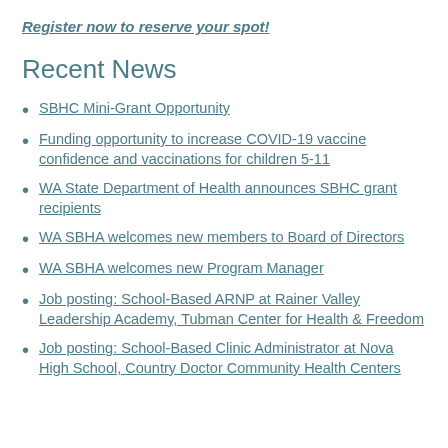Register now to reserve your spot!
Recent News
SBHC Mini-Grant Opportunity
Funding opportunity to increase COVID-19 vaccine confidence and vaccinations for children 5-11
WA State Department of Health announces SBHC grant recipients
WA SBHA welcomes new members to Board of Directors
WA SBHA welcomes new Program Manager
Job posting: School-Based ARNP at Rainer Valley Leadership Academy, Tubman Center for Health & Freedom
Job posting: School-Based Clinic Administrator at Nova High School, Country Doctor Community Health Centers